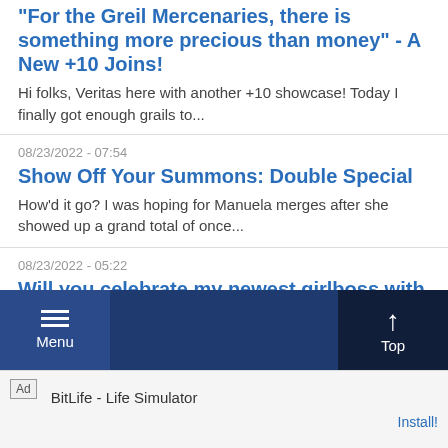"For the Greil Mercenaries, there is something more precious than money" - A New +10 Joins!
Hi folks, Veritas here with another +10 showcase! Today I finally got enough grails to...
08/23/2022 - 07:54
Show Off Your Summons: Double Special
How'd it go? I was hoping for Manuela merges after she showed up a grand total of once...
08/23/2022 - 05:22
Will you celebrate my newest girlboss with me
Not my best title, but itll suffice. She was sitting at +6 I believe (maybe +5) before...
Read More
Menu   Top
Ad   BitLife - Life Simulator   Install!